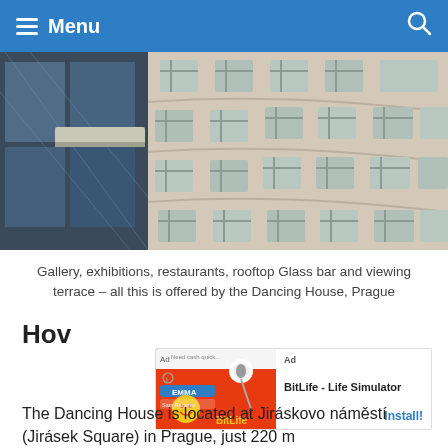Menu
[Figure (photo): Two-part photo of the Dancing House in Prague: left side shows glass/steel curved facade, right side shows the curved beige/cream facade with rows of windows in wavy patterns.]
Gallery, exhibitions, restaurants, rooftop Glass bar and viewing terrace – all this is offered by the Dancing House, Prague
How
[Figure (other): Advertisement banner: BitLife - Life Simulator app ad with Install! button]
The Dancing House is located at Jiráskovo náměstí (Jirásek Square) in Prague, just 220 m